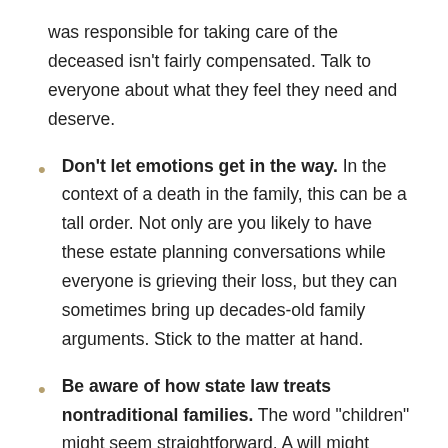was responsible for taking care of the deceased isn't fairly compensated. Talk to everyone about what they feel they need and deserve.
Don't let emotions get in the way. In the context of a death in the family, this can be a tall order. Not only are you likely to have these estate planning conversations while everyone is grieving their loss, but they can sometimes bring up decades-old family arguments. Stick to the matter at hand.
Be aware of how state law treats nontraditional families. The word “children” might seem straightforward. A will might stipulate, for example, that the deceased wished to divide the